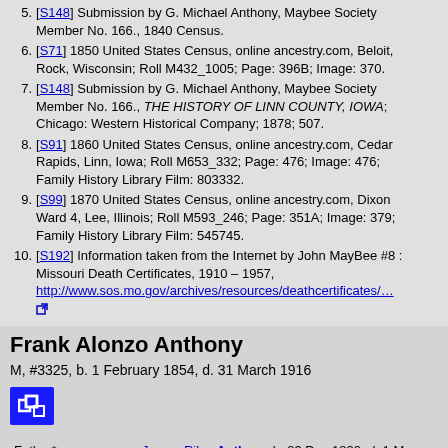5. [S148] Submission by G. Michael Anthony, Maybee Society Member No. 166., 1840 Census.
6. [S71] 1850 United States Census, online ancestry.com, Beloit, Rock, Wisconsin; Roll M432_1005; Page: 396B; Image: 370.
7. [S148] Submission by G. Michael Anthony, Maybee Society Member No. 166., THE HISTORY OF LINN COUNTY, IOWA; Chicago: Western Historical Company; 1878; 507.
8. [S91] 1860 United States Census, online ancestry.com, Cedar Rapids, Linn, Iowa; Roll M653_332; Page: 476; Image: 476; Family History Library Film: 803332.
9. [S99] 1870 United States Census, online ancestry.com, Dixon Ward 4, Lee, Illinois; Roll M593_246; Page: 351A; Image: 379; Family History Library Film: 545745.
10. [S192] Information taken from the Internet by John MayBee #8 : Missouri Death Certificates, 1910 - 1957, http://www.sos.mo.gov/archives/resources/deathcertificates/...
Frank Alonzo Anthony
M, #3325, b. 1 February 1854, d. 31 March 1916
| Relation | Person | Dates |
| --- | --- | --- |
| Father* | James Riley Anthony | b. 23 Dec 1820, d. 1 Mar 1900 |
| Mother* | Marilla Harriet Mabie | b. 22 Mar 1826, d. 17 Aug 1910 |